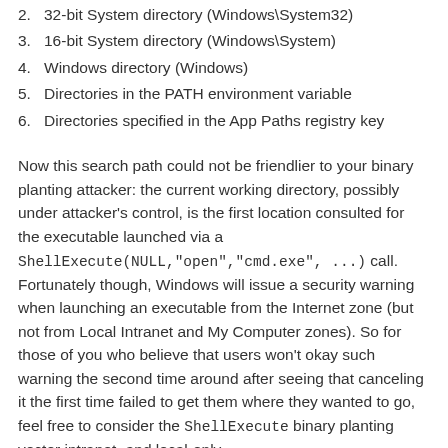2. 32-bit System directory (Windows\System32)
3. 16-bit System directory (Windows\System)
4. Windows directory (Windows)
5. Directories in the PATH environment variable
6. Directories specified in the App Paths registry key
Now this search path could not be friendlier to your binary planting attacker: the current working directory, possibly under attacker's control, is the first location consulted for the executable launched via a ShellExecute(NULL,"open","cmd.exe", ...) call. Fortunately though, Windows will issue a security warning when launching an executable from the Internet zone (but not from Local Intranet and My Computer zones). So for those of you who believe that users won't okay such warning the second time around after seeing that canceling it the first time failed to get them where they wanted to go, feel free to consider the ShellExecute binary planting vector intranet- and local-only.